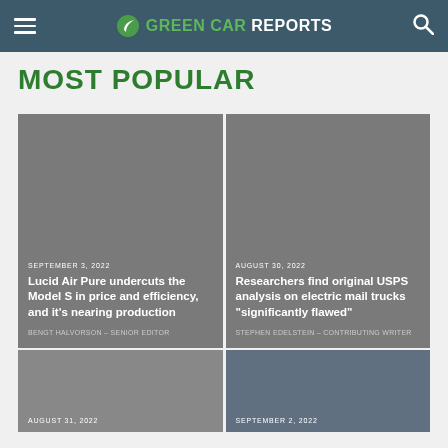GREEN CAR REPORTS
MOST POPULAR
SEPTEMBER 3, 2022
Lucid Air Pure undercuts the Model S in price and efficiency, and it's nearing production
BENGT HALVORSON – SENIOR EDITOR
AUGUST 30, 2022
Researchers find original USPS analysis on electric mail trucks "significantly flawed"
STEPHEN EDELSTEIN – CONTRIBUTING WRITER
AUGUST 31, 2022
SEPTEMBER 2, 2022